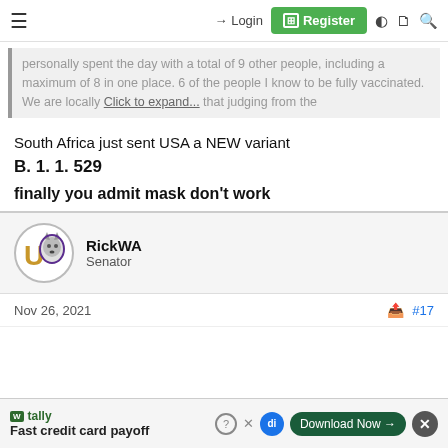Login | Register
personally spent the day with a total of 9 other people, including a maximum of 8 in one place. 6 of the people I know to be fully vaccinated. We are locally... Click to expand... that judging from the
South Africa just sent USA a NEW variant
B. 1. 1. 529
finally you admit mask don't work
RickWA
Senator
Nov 26, 2021  #17